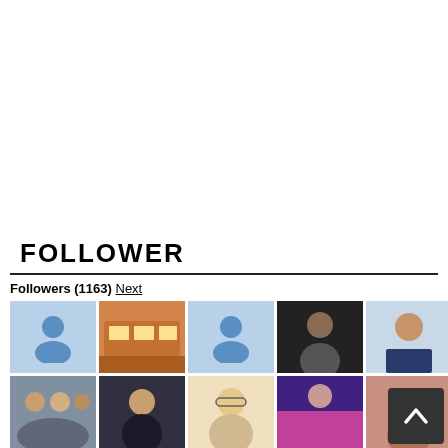FOLLOWER
Followers (1163) Next
[Figure (screenshot): Two rows of follower profile photo thumbnails showing 10 avatars per row. Row 1 includes placeholder icons and photos of people. Row 2 shows similar mix of photos. A scroll-to-top button appears at bottom right.]